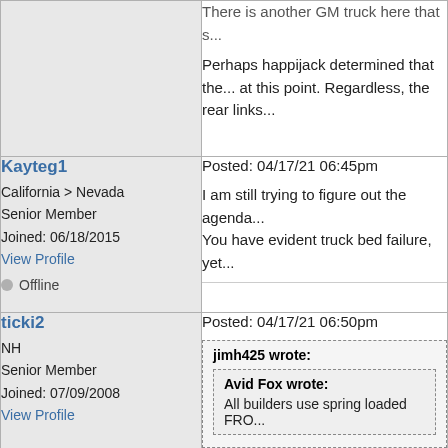There is another GM truck here that s...
Perhaps happijack determined that the... at this point. Regardless, the rear links...
Kayteg1
California > Nevada
Senior Member
Joined: 06/18/2015
View Profile
Offline
Posted: 04/17/21 06:45pm
I am still trying to figure out the agenda... You have evident truck bed failure, yet...
ticki2
NH
Senior Member
Joined: 07/09/2008
View Profile
Posted: 04/17/21 06:50pm
jimh425 wrote:
Avid Fox wrote:
All builders use spring loaded FRO...
Not true. My fastguns all have spring...
The sample size is so tiny that I do...